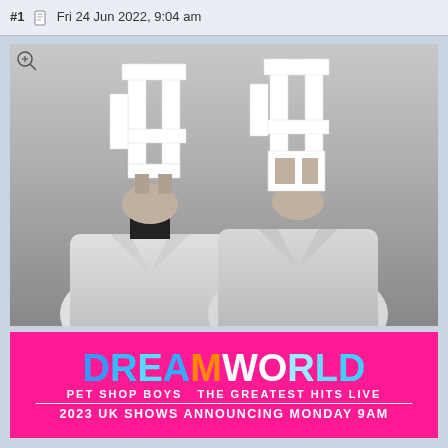#1  Fri 24 Jun 2022, 9:04 am
[Figure (photo): Black and white promotional photo of Pet Shop Boys wearing white outfits and large geometric white headpieces/masks covering their faces, above a hot pink band with concert tour information]
DREAMWORLD
PET SHOP BOYS  THE GREATEST HITS LIVE
2023 UK SHOWS ANNOUNCING MONDAY 9AM